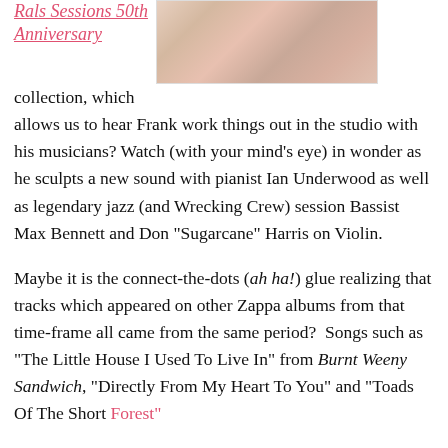Rals Sessions 50th Anniversary
[Figure (photo): Album artwork or decorative colorful image, partially visible in upper right corner of the page]
collection, which allows us to hear Frank work things out in the studio with his musicians? Watch (with your mind's eye) in wonder as he sculpts a new sound with pianist Ian Underwood as well as legendary jazz (and Wrecking Crew) session Bassist Max Bennett and Don "Sugarcane" Harris on Violin.

Maybe it is the connect-the-dots (ah ha!) glue realizing that tracks which appeared on other Zappa albums from that time-frame all came from the same period?  Songs such as "The Little House I Used To Live In" from Burnt Weeny Sandwich, "Directly From My Heart To You" and "Toads Of The Short Forest"